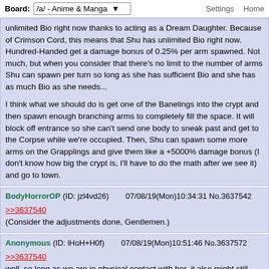Board: /a/ - Anime & Manga   Settings  Home
unlimited Bio right now thanks to acting as a Dream Daughter. Because of Crimson Cord, this means that Shu has unlimited Bio right now. Hundred-Handed get a damage bonus of 0.25% per arm spawned. Not much, but when you consider that there's no limit to the number of arms Shu can spawn per turn so long as she has sufficient Bio and she has as much Bio as she needs...

I think what we should do is get one of the Banelings into the crypt and then spawn enough branching arms to completely fill the space. It will block off entrance so she can't send one body to sneak past and get to the Corpse while we're occupied. Then, Shu can spawn some more arms on the Grapplings and give them like a +5000% damage bonus (I don't know how big the crypt is, I'll have to do the math after we see it) and go to town.
BodyHorrorOP (ID: jzl4vd26)   07/08/19(Mon)10:34:31 No.3637542
>>3637540
(Consider the adjustments done, Gentlemen.)
Anonymous (ID: lHoH+H0f)   07/08/19(Mon)10:51:46 No.3637572
>>3637540
well, so long as we are in physical contact with her. it also might still have a limit, as Ginas reserves still have a max technically, it